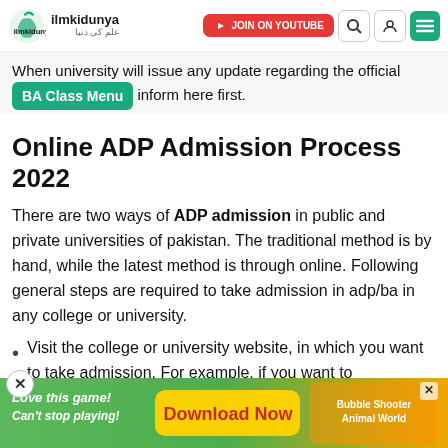ilmkidunya | JOIN ON YOUTUBE | search | account | menu
When university will issue any update regarding the official BA Class Menu date, we will inform here first.
Online ADP Admission Process 2022
There are two ways of ADP admission in public and private universities of pakistan. The traditional method is by hand, while the latest method is through online. Following general steps are required to take admission in adp/ba in any college or university.
Visit the college or university website, in which you want to take admission. For example, if you want to
[Figure (screenshot): Advertisement banner: 'Love this game! Can't stop playing! Download Now' with colorful game graphics and Bubble Shooter Animal World branding]